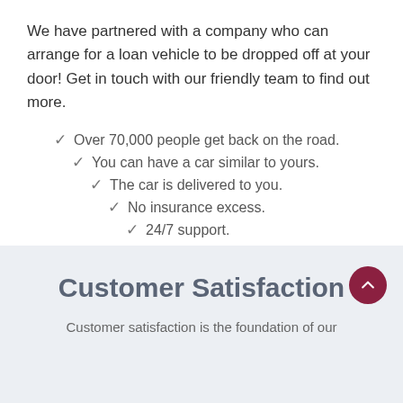We have partnered with a company who can arrange for a loan vehicle to be dropped off at your door! Get in touch with our friendly team to find out more.
Over 70,000 people get back on the road.
You can have a car similar to yours.
The car is delivered to you.
No insurance excess.
24/7 support.
Customer Satisfaction
Customer satisfaction is the foundation of our